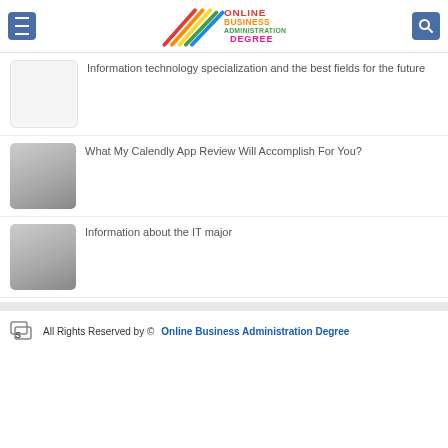Online Business Administration Degree
Information technology specialization and the best fields for the future
[Figure (photo): Thumbnail placeholder image, white/light gray background]
What My Calendly App Review Will Accomplish For You?
[Figure (photo): Thumbnail placeholder image, gray gradient]
Information about the IT major
[Figure (photo): Thumbnail placeholder image, gray gradient]
All Rights Reserved by © Online Business Administration Degree